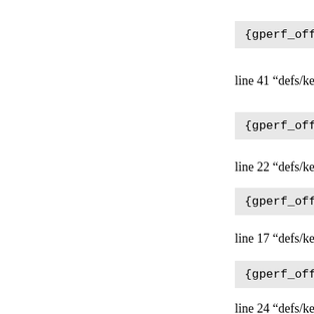{gperf_offsetof(s
line 41 “defs/keyword
{gperf_offsetof(s
line 22 “defs/keyword
{gperf_offsetof(s
line 17 “defs/keyword
{gperf_offsetof(s
line 24 “defs/keyword
{gperf_offsetof(s
line 51 “defs/k